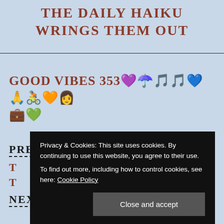THE DAILY HAIKU
WRINGS THEM OUT
GOOD VIBES 353 💜 ☂ 🎵🎵 💙 🙏 🚴 🧡 👩 💼 💚
PREVIOUS
T...
T...
NEXT
Privacy & Cookies: This site uses cookies. By continuing to use this website, you agree to their use.
To find out more, including how to control cookies, see here: Cookie Policy
Close and accept